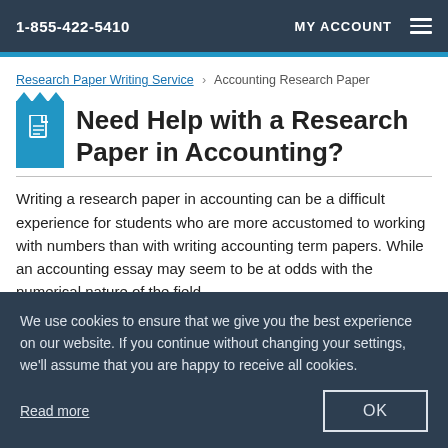1-855-422-5410   MY ACCOUNT
Research Paper Writing Service > Accounting Research Paper
Need Help with a Research Paper in Accounting?
Writing a research paper in accounting can be a difficult experience for students who are more accustomed to working with numbers than with writing accounting term papers. While an accounting essay may seem to be at odds with the numerical nature of the field, students writing accounting research…
We use cookies to ensure that we give you the best experience on our website. If you continue without changing your settings, we'll assume that you are happy to receive all cookies.

Read more   OK